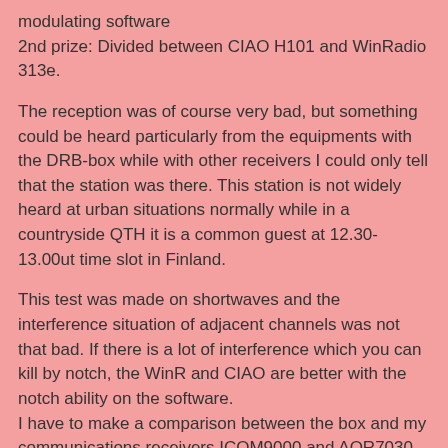modulating software
2nd prize: Divided between CIAO H101 and WinRadio 313e.
The reception was of course very bad, but something could be heard particularly from the equipments with the DRB-box while with other receivers I could only tell that the station was there. This station is not widely heard at urban situations normally while in a countryside QTH it is a common guest at 12.30-13.00ut time slot in Finland.
This test was made on shortwaves and the interference situation of adjacent channels was not that bad. If there is a lot of interference which you can kill by notch, the WinR and CIAO are better with the notch ability on the software.
I have to make a comparison between the box and my communications receivers ICOM9000 and AOR7030 later on, but as far as sensitivity and intelligibility is concerned these tiny boxes are usually as good as older, typical communication receivers like ICOMs & AORs.
So it was quite nice to discover that with a good program to modulate received signals (I did make a try with a WinRad